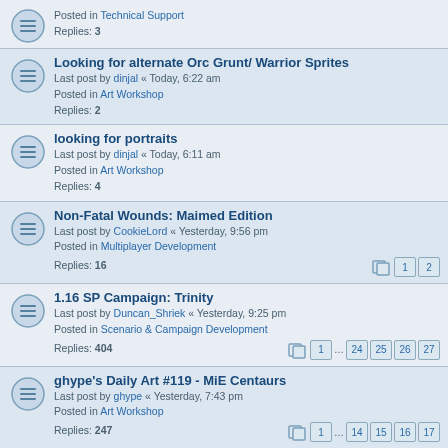Posted in Technical Support
Replies: 3
Looking for alternate Orc Grunt/ Warrior Sprites
Last post by dinjal « Today, 6:22 am
Posted in Art Workshop
Replies: 2
looking for portraits
Last post by dinjal « Today, 6:11 am
Posted in Art Workshop
Replies: 4
Non-Fatal Wounds: Maimed Edition
Last post by CookieLord « Yesterday, 9:56 pm
Posted in Multiplayer Development
Replies: 16
1.16 SP Campaign: Trinity
Last post by Duncan_Shriek « Yesterday, 9:25 pm
Posted in Scenario & Campaign Development
Replies: 404
ghype's Daily Art #119 - MiE Centaurs
Last post by ghype « Yesterday, 7:43 pm
Posted in Art Workshop
Replies: 247
To Lands Unknown 3.6
Last post by saxo « Yesterday, 7:13 pm
Posted in Scenario & Campaign Development
Replies: 1114
Wesnoth 1.17.7